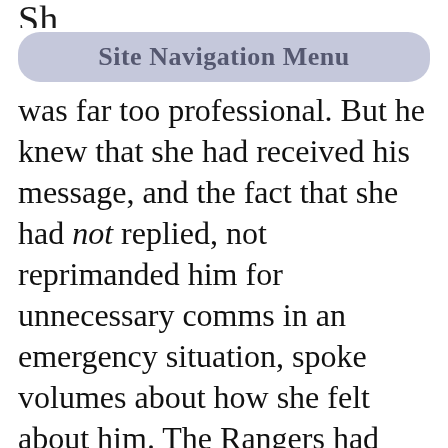Sh
[Figure (other): Site Navigation Menu button with rounded rectangle shape in muted blue-purple color]
was far too professional. But he knew that she had received his message, and the fact that she had not replied, not reprimanded him for unnecessary comms in an emergency situation, spoke volumes about how she felt about him. The Rangers had taught him too much about